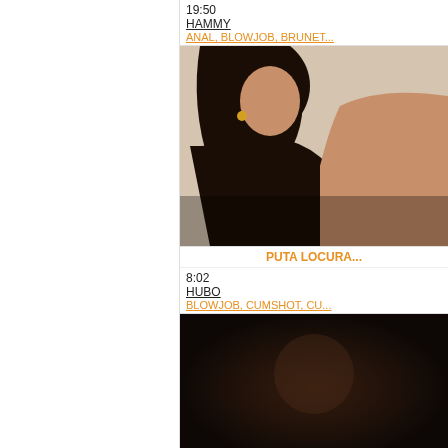19:50
HAMMY
ANAL, BLOWJOB, BRUNET...
[Figure (photo): Video thumbnail showing a woman in a blowjob scene, dark background]
PUTA LOCURA
8:02
HUBO
BLOWJOB, CUMSHOT, CU...
[Figure (photo): Video thumbnail showing a dark scene]